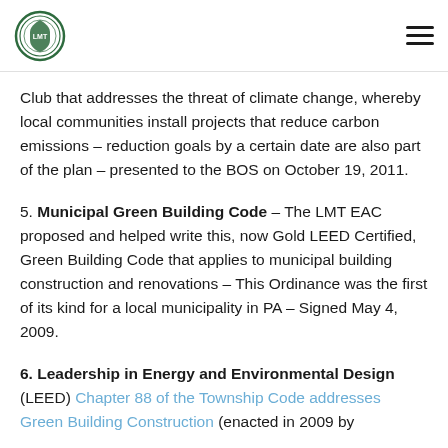[Township seal logo] [hamburger menu]
Club that addresses the threat of climate change, whereby local communities install projects that reduce carbon emissions – reduction goals by a certain date are also part of the plan – presented to the BOS on October 19, 2011.
5. Municipal Green Building Code – The LMT EAC proposed and helped write this, now Gold LEED Certified, Green Building Code that applies to municipal building construction and renovations – This Ordinance was the first of its kind for a local municipality in PA – Signed May 4, 2009.
6. Leadership in Energy and Environmental Design (LEED) Chapter 88 of the Township Code addresses Green Building Construction (enacted in 2009 by